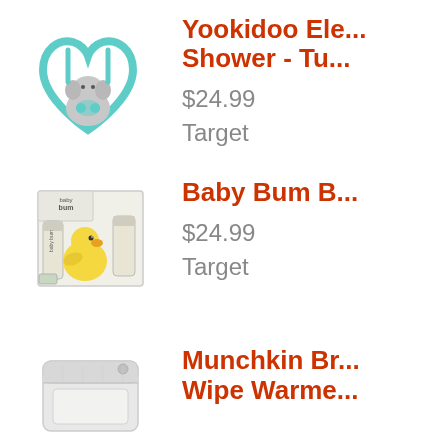[Figure (photo): Yookidoo Elephant Magic Baby Shower toy - elephant shaped bath toy with heart-shaped tubing in mint/teal color]
Yookidoo Ele... Shower - Tu...
$24.99
Target
[Figure (photo): Baby Bum brand gift set in box with yellow duck plush toy and sunscreen products]
Baby Bum B...
$24.99
Target
[Figure (photo): Munchkin brand wipe warmer - white plastic container]
Munchkin Br... Wipe Warme...